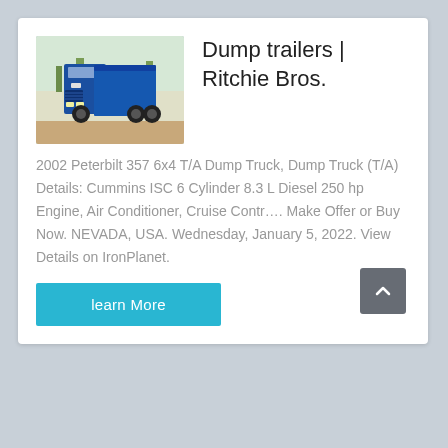[Figure (photo): Blue dump truck (front view) parked on a dirt lot with trees in background]
Dump trailers | Ritchie Bros.
2002 Peterbilt 357 6x4 T/A Dump Truck, Dump Truck (T/A) Details: Cummins ISC 6 Cylinder 8.3 L Diesel 250 hp Engine, Air Conditioner, Cruise Contr…. Make Offer or Buy Now. NEVADA, USA. Wednesday, January 5, 2022. View Details on IronPlanet.
learn More